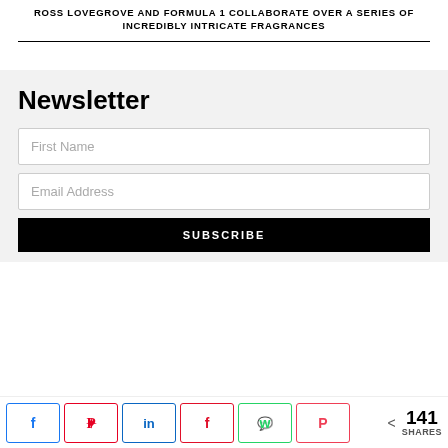ROSS LOVEGROVE AND FORMULA 1 COLLABORATE OVER A SERIES OF INCREDIBLY INTRICATE FRAGRANCES
Newsletter
First Name
Email Address
SUBSCRIBE
< 141 SHARES